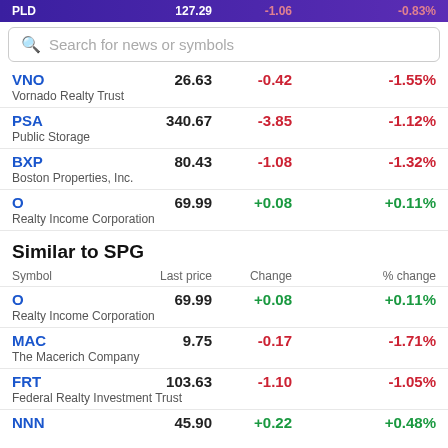| Symbol | Last price | Change | % change |
| --- | --- | --- | --- |
| VNO / Vornado Realty Trust | 26.63 | -0.42 | -1.55% |
| PSA / Public Storage | 340.67 | -3.85 | -1.12% |
| BXP / Boston Properties, Inc. | 80.43 | -1.08 | -1.32% |
| O / Realty Income Corporation | 69.99 | +0.08 | +0.11% |
Similar to SPG
| Symbol | Last price | Change | % change |
| --- | --- | --- | --- |
| O / Realty Income Corporation | 69.99 | +0.08 | +0.11% |
| MAC / The Macerich Company | 9.75 | -0.17 | -1.71% |
| FRT / Federal Realty Investment Trust | 103.63 | -1.10 | -1.05% |
| NNN | 45.90 | +0.22 | +0.48% |